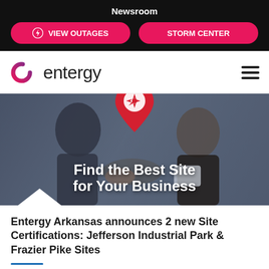Newsroom
VIEW OUTAGES
STORM CENTER
[Figure (logo): Entergy logo with stylized 'e' icon in pink/purple gradient and 'entergy' wordmark]
[Figure (photo): Hero image showing two business people shaking hands with a woman in background, overlaid with a red map pin icon containing a compass rose and text 'Find the Best Site for Your Business']
Entergy Arkansas announces 2 new Site Certifications: Jefferson Industrial Park & Frazier Pike Sites